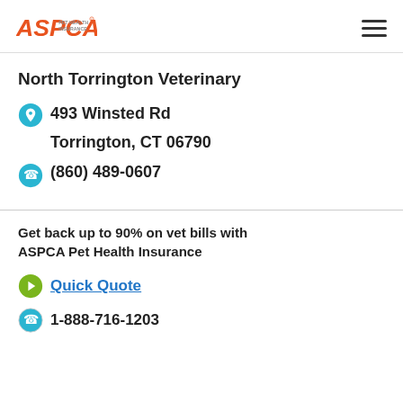ASPCA PET HEALTH INSURANCE
North Torrington Veterinary
493 Winsted Rd
Torrington, CT 06790
(860) 489-0607
Get back up to 90% on vet bills with ASPCA Pet Health Insurance
Quick Quote
1-888-716-1203